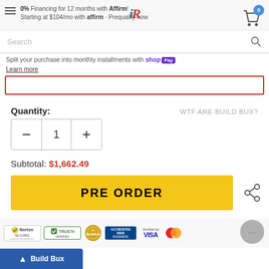0% Financing for 12 months with Affirm! Starting at $104/mo with affirm · Prequalify now
Search
Split your purchase into monthly installments with shop Pay
Learn more
Quantity: WTF ARE BUILD BUX?
Subtotal: $1,662.49
PRE ORDER
[Figure (other): Trust badges row: Norton Secured, TRUSTe Verified, Medallion Certified, BBB Accredited Business, Verified by VISA, Mastercard Secure]
Build Bux